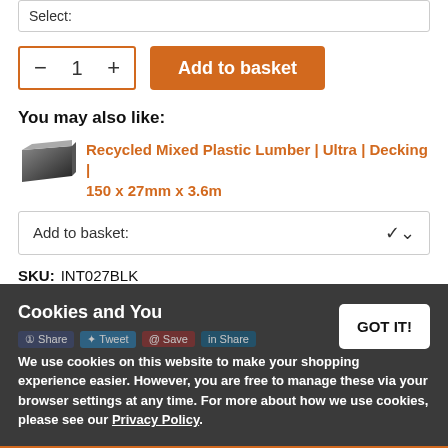Select:
- 1 + Add to basket
You may also like:
Recycled Mixed Plastic Lumber | Ultra | Decking | 150 x 27mm x 3.6m
Add to basket:
SKU: INT027BLK
Cookies and You
GOT IT!
We use cookies on this website to make your shopping experience easier. However, you are free to manage these via your browser settings at any time. For more about how we use cookies, please see our Privacy Policy.